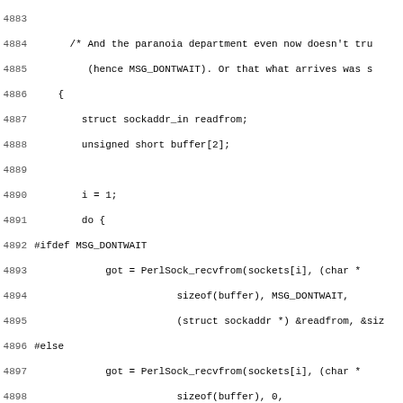Source code listing, lines 4883-4914, C code with preprocessor directives